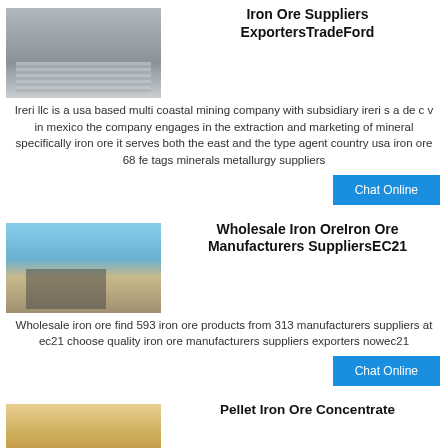[Figure (photo): Industrial mining conveyor/screening equipment, gray metal structure]
Iron Ore Suppliers ExportersTradeFord
Ireri llc is a usa based multi coastal mining company with subsidiary ireri s a de c v in mexico the company engages in the extraction and marketing of mineral specifically iron ore it serves both the east and the type agent country usa iron ore 68 fe tags minerals metallurgy suppliers
Chat Online
[Figure (photo): Open-air mining site with industrial equipment and conveyors, desert/arid setting]
Wholesale Iron OreIron Ore Manufacturers SuppliersEC21
Wholesale iron ore find 593 iron ore products from 313 manufacturers suppliers at ec21 choose quality iron ore manufacturers suppliers exporters nowec21
Chat Online
[Figure (photo): Industrial ore processing equipment, partially visible at bottom of page]
Pellet Iron Ore Concentrate